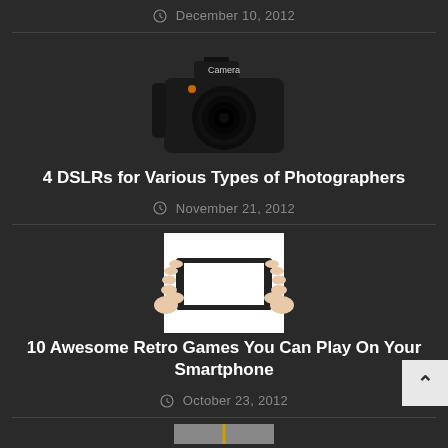December 10, 2012
[Figure (photo): DSLR camera photo]
4 DSLRs for Various Types of Photographers
November 21, 2012
[Figure (photo): Hands holding a smartphone horizontally]
10 Awesome Retro Games You Can Play On Your Smartphone
October 23, 2012
[Figure (photo): Partial image at bottom of page]